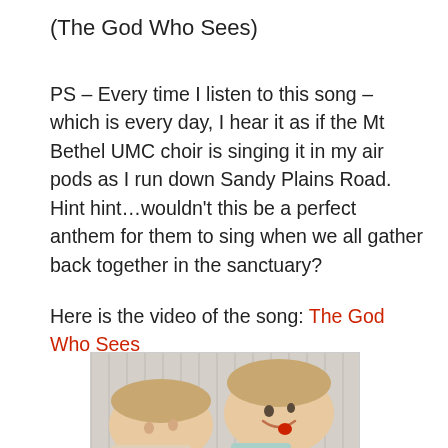(The God Who Sees)
PS – Every time I listen to this song – which is every day, I hear it as if the Mt Bethel UMC choir is singing it in my air pods as I run down Sandy Plains Road. Hint hint…wouldn’t this be a perfect anthem for them to sing when we all gather back together in the sanctuary?
Here is the video of the song: The God Who Sees
[Figure (photo): Two young children (toddlers) lying down together, smiling, with light-colored hair, against a beadboard background]